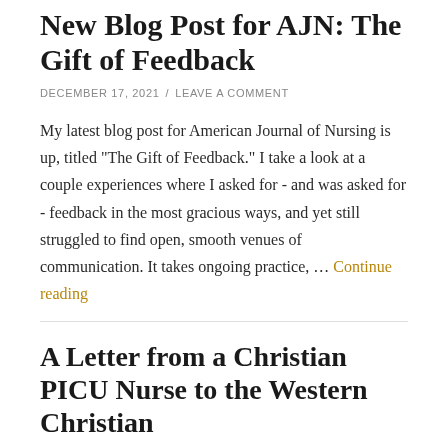New Blog Post for AJN: The Gift of Feedback
DECEMBER 17, 2021 / LEAVE A COMMENT
My latest blog post for American Journal of Nursing is up, titled "The Gift of Feedback." I take a look at a couple experiences where I asked for - and was asked for - feedback in the most gracious ways, and yet still struggled to find open, smooth venues of communication. It takes ongoing practice, … Continue reading
A Letter from a Christian PICU Nurse to the Western Christian